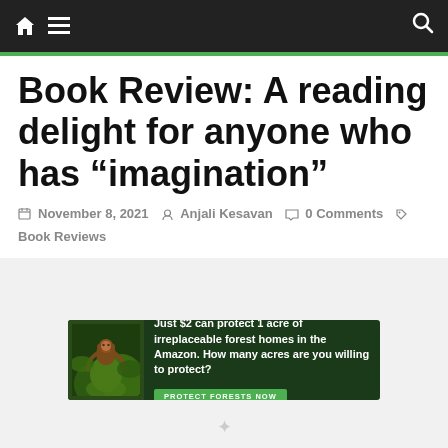Navigation bar with home icon, menu icon, and search icon
Book Review: A reading delight for anyone who has “imagination”
November 8, 2021  Anjali Kesavan  0 Comments
Book Reviews
[Figure (infographic): Advertisement banner: Just $2 can protect 1 acre of irreplaceable forest homes in the Amazon. How many acres are you willing to protect? PROTECT FORESTS NOW]